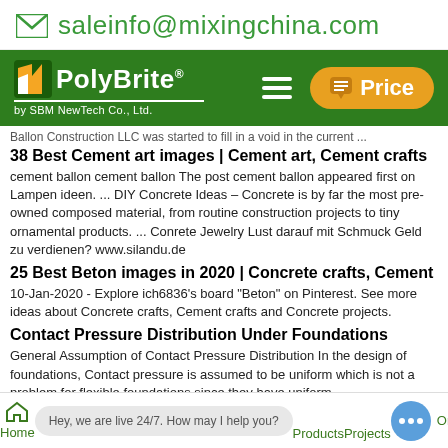✉ saleinfo@mixingchina.com
[Figure (logo): PolyBrite by SBM NewTech Co., Ltd. logo on green navigation bar with hamburger menu and Price button]
Ballon Construction LLC was started to fill in a void in the current ...
38 Best Cement art images | Cement art, Cement crafts
cement ballon cement ballon The post cement ballon appeared first on Lampen ideen. ... DIY Concrete Ideas – Concrete is by far the most pre-owned composed material, from routine construction projects to tiny ornamental products. ... Conrete Jewelry Lust darauf mit Schmuck Geld zu verdienen? www.silandu.de
25 Best Beton images in 2020 | Concrete crafts, Cement
10-Jan-2020 - Explore ich6836's board "Beton" on Pinterest. See more ideas about Concrete crafts, Cement crafts and Concrete projects.
Contact Pressure Distribution Under Foundations
General Assumption of Contact Pressure Distribution In the design of foundations, Contact pressure is assumed to be uniform which is not a problem for flexible foundations since they have uniform
Home   Products   Projects   Onli...